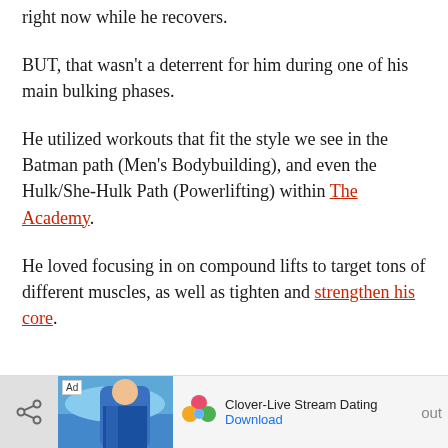right now while he recovers.
BUT, that wasn't a deterrent for him during one of his main bulking phases.
He utilized workouts that fit the style we see in the Batman path (Men's Bodybuilding), and even the Hulk/She-Hulk Path (Powerlifting) within The Academy.
He loved focusing in on compound lifts to target tons of different muscles, as well as tighten and strengthen his core.
[Figure (screenshot): Mobile advertisement bar at bottom of page. Shows share button on left, ad image with person on beach, Clover-Live Stream Dating app logo, app name, and Download link.]